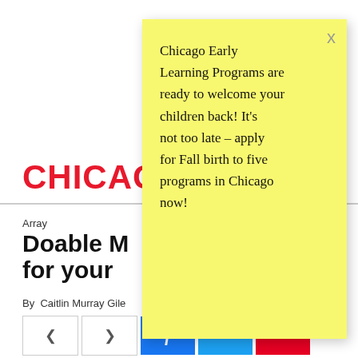[Figure (screenshot): Chicago Magazine website header with red CHICAGO logo, hamburger menu icon, article category 'Array', article title 'Doable M... for your...', byline 'By Caitlin Murray Gile', and social share buttons (share, Facebook, Twitter, Pinterest).]
[Figure (other): Yellow sticky note popup with handwritten text: 'Chicago Early Learning Programs are ready to welcome your children back! It's not too late – apply for Fall birth to five programs in Chicago now!']